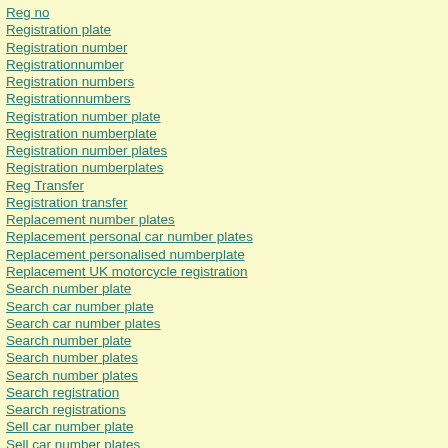Reg no
Registration plate
Registration number
Registrationnumber
Registration numbers
Registrationnumbers
Registration number plate
Registration numberplate
Registration number plates
Registration numberplates
Reg Transfer
Registration transfer
Replacement number plates
Replacement personal car number plates
Replacement personalised numberplate
Replacement UK motorcycle registration
Search number plate
Search car number plate
Search car number plates
Search number plate
Search number plates
Search number plates
Search registration
Search registrations
Sell car number plate
Sell car number plates
Sell car registration
Sell car registrations
Sell number plate
Selling number plate